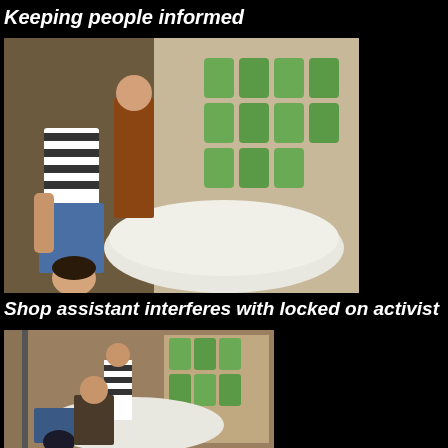Keeping people informed
[Figure (photo): Person in striped shirt crouching/bending over near a curved white display counter in a shop, with green products visible on shelves in background.]
Shop assistant interferes with locked on activist
[Figure (photo): Interior of a shop showing people near the door, one person crouching low near the door, others standing around green products on display.]
Blocking the door
[Figure (photo): Street scene showing trees, parked vehicles, people gathered on a pavement outside buildings.]